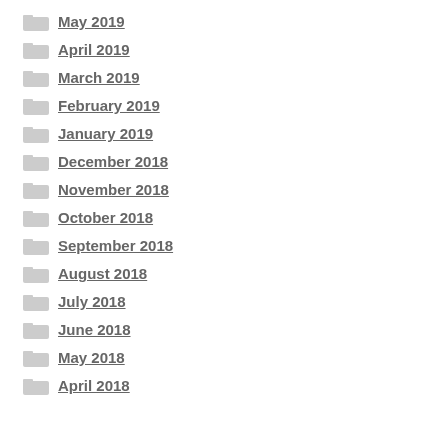May 2019
April 2019
March 2019
February 2019
January 2019
December 2018
November 2018
October 2018
September 2018
August 2018
July 2018
June 2018
May 2018
April 2018